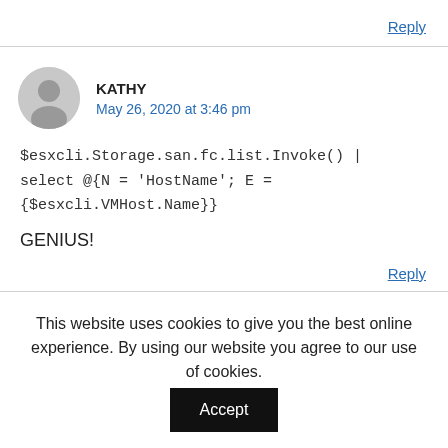Reply
KATHY
May 26, 2020 at 3:46 pm
$esxcli.Storage.san.fc.list.Invoke() | select @{N = 'HostName'; E = {$esxcli.VMHost.Name}}
GENIUS!
Reply
This website uses cookies to give you the best online experience. By using our website you agree to our use of cookies.